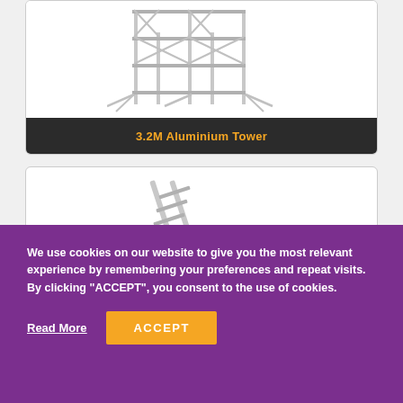[Figure (photo): Aluminium scaffold tower structure shown against a white background inside a bordered product card with dark banner label]
3.2M Aluminium Tower
[Figure (photo): Aluminium ladder shown diagonally against a white background inside a bordered product card]
We use cookies on our website to give you the most relevant experience by remembering your preferences and repeat visits. By clicking “ACCEPT”, you consent to the use of cookies.